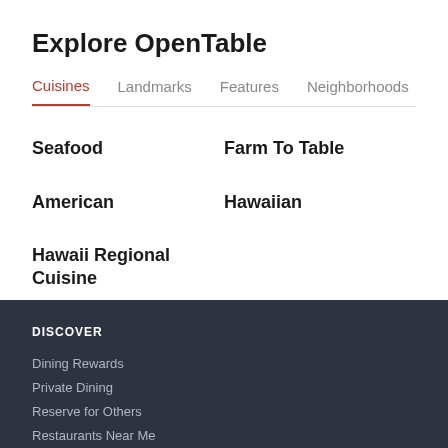Explore OpenTable
Cuisines | Landmarks | Features | Neighborhoods | Ci...
Seafood
Farm To Table
American
Hawaiian
Hawaii Regional Cuisine
DISCOVER
Dining Rewards
Private Dining
Reserve for Others
Restaurants Near Me